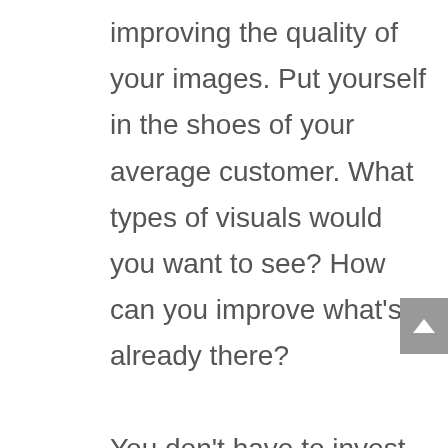improving the quality of your images. Put yourself in the shoes of your average customer. What types of visuals would you want to see? How can you improve what's already there?

You don't have to invest in a ton of expensive equipment and software to take beautiful pictures. You just need a lot of determination and a bit of knowhow. Commit to learning what you need to know to create one of the best business websites in your industry.